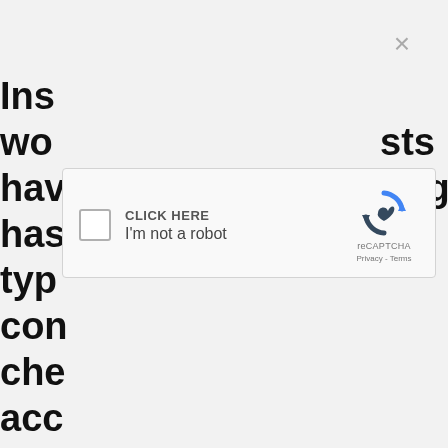Ins wo sts hav oug has typ con che acc Del an ins g to (
[Figure (screenshot): A reCAPTCHA widget overlay with a close button (×) in the upper right. The widget shows a checkbox, 'CLICK HERE' label, 'I'm not a robot' text, the reCAPTCHA logo, 'reCAPTCHA' brand text, and 'Privacy - Terms' links.]